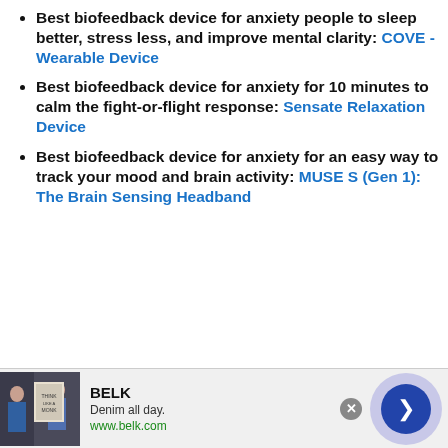Best biofeedback device for anxiety people to sleep better, stress less, and improve mental clarity: COVE - Wearable Device
Best biofeedback device for anxiety for 10 minutes to calm the fight-or-flight response: Sensate Relaxation Device
Best biofeedback device for anxiety for an easy way to track your mood and brain activity: MUSE S (Gen 1): The Brain Sensing Headband
[Figure (other): Advertisement banner for BELK showing two women, text 'Denim all day.' and 'www.belk.com', with a navigation arrow button and close button]